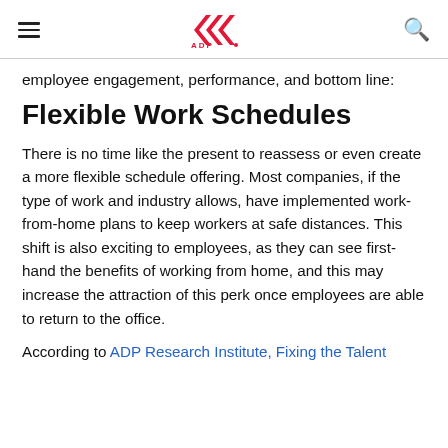ADP logo, hamburger menu, search icon
employee engagement, performance, and bottom line:
Flexible Work Schedules
There is no time like the present to reassess or even create a more flexible schedule offering. Most companies, if the type of work and industry allows, have implemented work-from-home plans to keep workers at safe distances. This shift is also exciting to employees, as they can see first-hand the benefits of working from home, and this may increase the attraction of this perk once employees are able to return to the office.
According to ADP Research Institute, Fixing the Talent